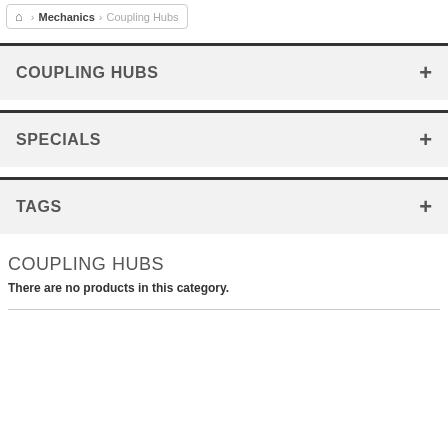Home > Mechanics > Coupling Hubs
COUPLING HUBS
SPECIALS
TAGS
COUPLING HUBS
There are no products in this category.